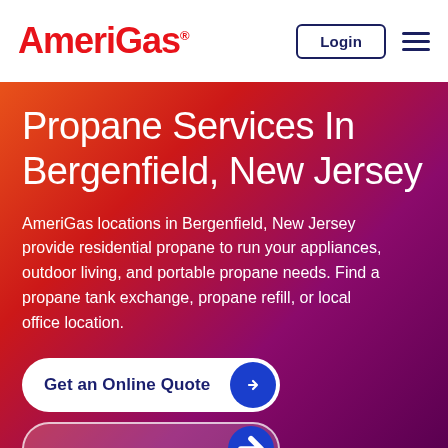AmeriGas® | Login | Navigation menu
Propane Services In Bergenfield, New Jersey
AmeriGas locations in Bergenfield, New Jersey provide residential propane to run your appliances, outdoor living, and portable propane needs. Find a propane tank exchange, propane refill, or local office location.
Get an Online Quote
Find a Location